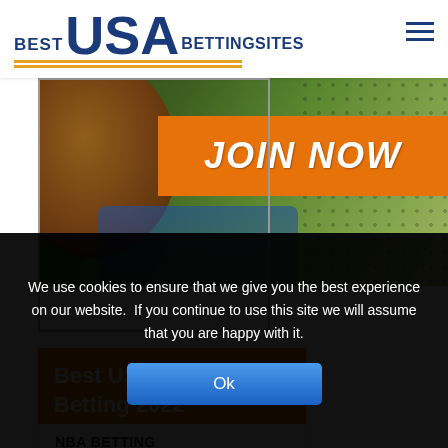BEST USA BETTINGSITES
[Figure (screenshot): Sports betting website banner with 'JOIN NOW' orange button overlay on a basketball/sports background image]
Best US Sports Betting 2022
NBA BETTING
NFL BETTING
NHL BETTING
We use cookies to ensure that we give you the best experience on our website.  If you continue to use this site we will assume that you are happy with it.